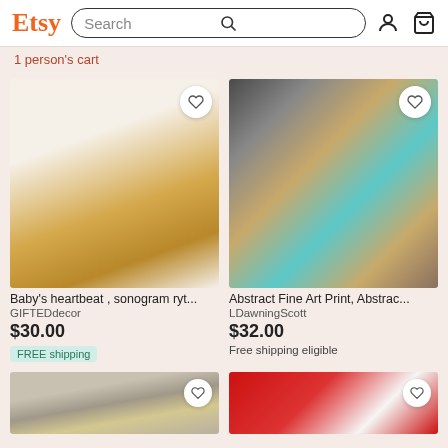Etsy — Search bar with account and cart icons
1 person's cart
[Figure (photo): Abstract painting with gold and white tones — Baby's heartbeat, sonogram art]
[Figure (photo): Abstract fine art print with teal, gold, and brown tones on dark background]
Baby's heartbeat , sonogram ryt...
GIFTEDdecor
$30.00
FREE shipping
Abstract Fine Art Print, Abstrac...
LDawningScott
$32.00
Free shipping eligible
[Figure (photo): Partial aerial/landscape photo at bottom left]
[Figure (photo): Partial red abstract photo at bottom right]